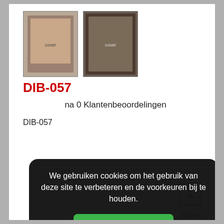[Figure (photo): Two DVD cover thumbnail images for DIB-057]
DIB-057
na 0 Klantenbeoordelingen
DIB-057
1
We gebruiken cookies om het gebruik van deze site te verbeteren en de voorkeuren bij te houden.
Ik begrijp het
Meer informatie
Bitches fuck toy by obert on his second day rr. Goddess continues Robert's long hard road to perfection with plenty of trampling, flogging, cropping, ball torture, pegging, pussy worship, ass cleaning and evil